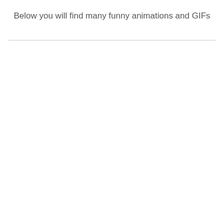Below you will find many funny animations and GIFs